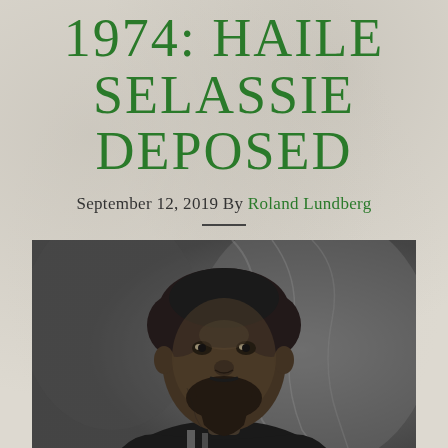1974: HAILE SELASSIE DEPOSED
September 12, 2019 By Roland Lundberg
[Figure (photo): Black and white historical portrait photograph of a young Haile Selassie with a beard and curly hair, dressed in formal attire with decorations, set against a draped background.]